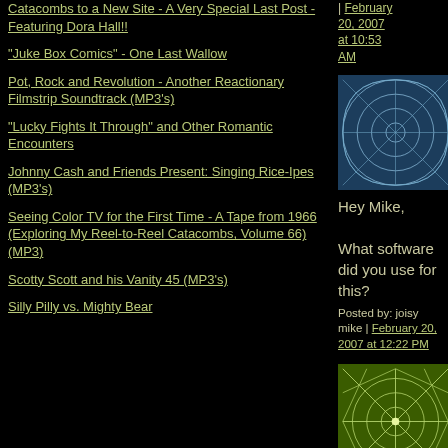Catacombs to a New Site - A Very Special Last Post - Featuring Dora Hall!!
"Juke Box Comics" - One Last Wallow
Pot, Rock and Revolution - Another Reactionary Filmstrip Soundtrack (MP3's)
"Lucky Fights It Through" and Other Romantic Encounters
Johnny Cash and Friends Present: Singing Rice-Ipes (MP3's)
Seeing Color TV for the First Time - A Tape from 1966 (Exploring My Reel-to-Reel Catacombs, Volume 66) (MP3)
Scotty Scott and his Vanity 45 (MP3's)
Silly Pilly vs. Mighty Bear
Hey Mike,

What software did you use for this?

Posted by: joisy mike | February 20, 2007 at 12:22 PM
[Figure (illustration): Blue square avatar with geometric pattern of intersecting arcs]
Adobe Audition.

Posted by: mike lupica | February 20, 2007 at 12:36
[Figure (illustration): Green square avatar with geometric starburst pattern]
| February 20, 2007 at 10:53 AM